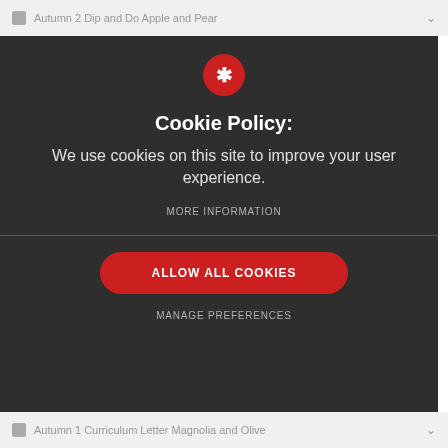Autumn 2 Dip and Do Apple and Pear
[Figure (screenshot): Red circle with white asterisk/star icon, serving as the cookie policy logo]
Cookie Policy:
We use cookies on this site to improve your user experience.
MORE INFORMATION
ALLOW ALL COOKIES
MANAGE PREFERENCES
Autumn 1 Curriculum Letter Magnolia and Olive